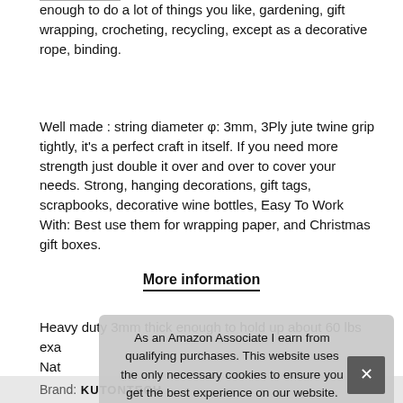enough to do a lot of things you like, gardening, gift wrapping, crocheting, recycling, except as a decorative rope, binding.
Well made : string diameter φ: 3mm, 3Ply jute twine grip tightly, it's a perfect craft in itself. If you need more strength just double it over and over to cover your needs. Strong, hanging decorations, gift tags, scrapbooks, decorative wine bottles, Easy To Work With: Best use them for wrapping paper, and Christmas gift boxes.
More information
Heavy duty 3mm thick enough to hold up about 60 lbs exa Nat it's b
As an Amazon Associate I earn from qualifying purchases. This website uses the only necessary cookies to ensure you get the best experience on our website. More information
Brand: KUTONTECH